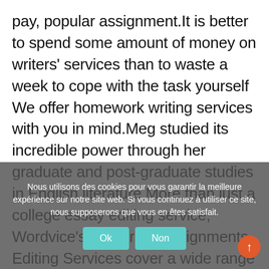pay, popular assignment.It is better to spend some amount of money on writers' services than to waste a week to cope with the task yourself We offer homework writing services with you in mind.Meg studied its incredible power through her graduate and post-graduate studies in English literature.More than just a college essay editing service, Wordvice's University Assignments Editing Services cover a wide range of written assignments: term papers, college essays, lab reports, book reports, literary analyses, daily coursework, and more.Therefore, we recommend you professional essay tutoring.The expert essay tutors at Nascent Mind...
Nous utilisons des cookies pour vous garantir la meilleure expérience sur notre site web. Si vous continuez à utiliser ce site, nous supposerons que vous en êtes satisfait.